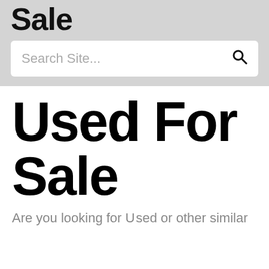Sale
Search Site...
Used For Sale
Are you looking for Used or other similar